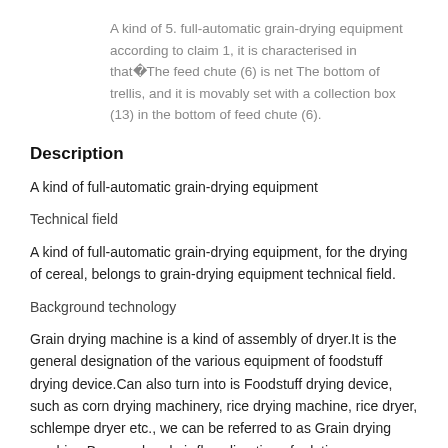A kind of 5. full-automatic grain-drying equipment according to claim 1, it is characterised in that�The feed chute (6) is net The bottom of trellis, and it is movably set with a collection box (13) in the bottom of feed chute (6).
Description
A kind of full-automatic grain-drying equipment
Technical field
A kind of full-automatic grain-drying equipment, for the drying of cereal, belongs to grain-drying equipment technical field.
Background technology
Grain drying machine is a kind of assembly of dryer.It is the general designation of the various equipment of foodstuff drying device.Can also turn into is Foodstuff drying device, such as corn drying machinery, rice drying machine, rice dryer, schlempe dryer etc., we can be referred to as Grain drying machine.By cereal and air-flow direction of relative